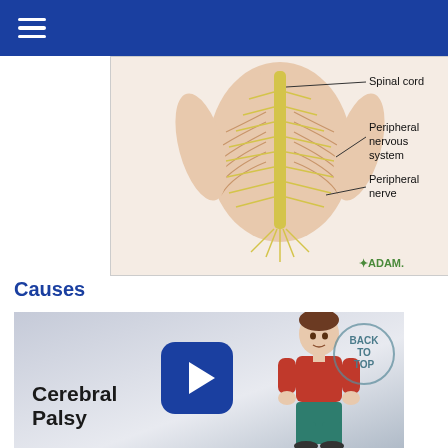[Figure (illustration): Anatomical illustration of the human torso showing the spinal cord, peripheral nervous system, and peripheral nerve with labeled callout lines. ADAM logo in bottom right corner.]
Causes
[Figure (illustration): Video thumbnail for 'Cerebral Palsy' showing a boy in a red shirt with a blue play button in the center. Includes a circular 'BACK TO TOP' button in the upper right.]